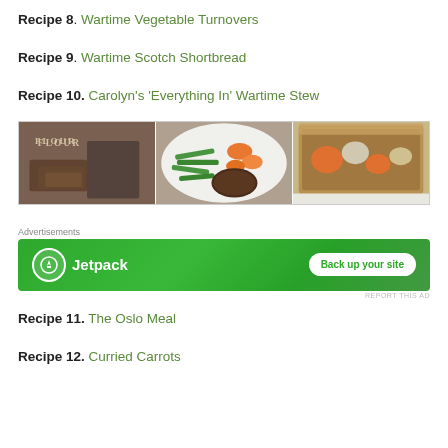Recipe 8. Wartime Vegetable Turnovers
Recipe 9. Wartime Scotch Shortbread
Recipe 10. Carolyn's 'Everything In' Wartime Stew
[Figure (photo): Three food photos side by side: bread slices near flour tin, burger with green beans and carrots on a white plate, vegetable pie slice showing filling]
Advertisements
[Figure (other): Jetpack advertisement banner: green background with Jetpack logo and 'Back up your site' button]
Recipe 11. The Oslo Meal
Recipe 12. Curried Carrots